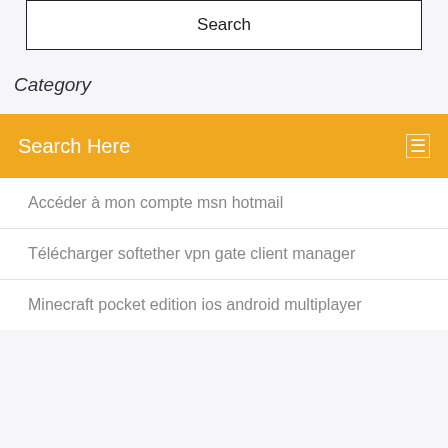Search
Category
Search Here
Accéder à mon compte msn hotmail
Télécharger softether vpn gate client manager
Minecraft pocket edition ios android multiplayer